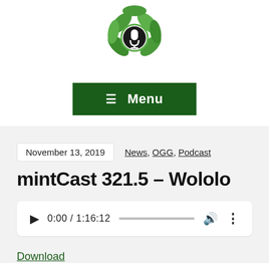[Figure (logo): Mintcast podcast logo: green leaves with a microphone icon in a circular emblem]
[Figure (screenshot): Dark green Menu navigation button with three horizontal lines icon and the word Menu]
November 13, 2019
News, OGG, Podcast
mintCast 321.5 – Wololo
[Figure (screenshot): Audio player widget showing play button, time 0:00 / 1:16:12, progress bar, volume icon, and more options icon]
Download